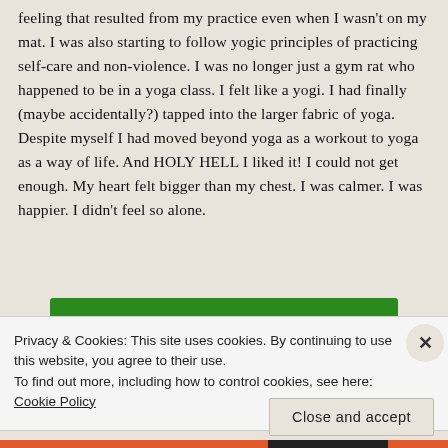feeling that resulted from my practice even when I wasn't on my mat. I was also starting to follow yogic principles of practicing self-care and non-violence. I was no longer just a gym rat who happened to be in a yoga class. I felt like a yogi. I had finally (maybe accidentally?) tapped into the larger fabric of yoga. Despite myself I had moved beyond yoga as a workout to yoga as a way of life. And HOLY HELL I liked it! I could not get enough. My heart felt bigger than my chest. I was calmer. I was happier. I didn't feel so alone.
[Figure (other): Green banner/button partially visible behind cookie consent overlay]
Privacy & Cookies: This site uses cookies. By continuing to use this website, you agree to their use.
To find out more, including how to control cookies, see here: Cookie Policy
Close and accept